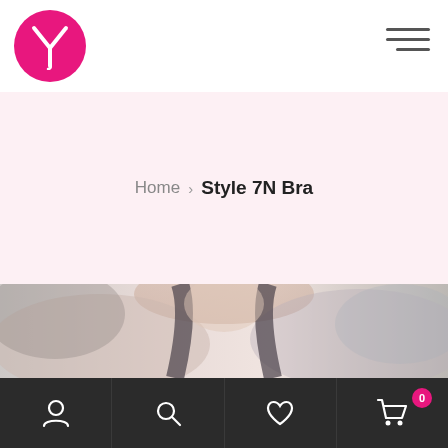[Figure (logo): Pink circular logo with white Y letter mark]
Home > Style 7N Bra
[Figure (photo): Close-up photo of a woman wearing a dark bra, shown from neck/shoulder area, muted warm tones]
[Figure (infographic): Bottom navigation bar with user/account icon, search icon, heart/wishlist icon, and shopping cart icon with badge showing 0]